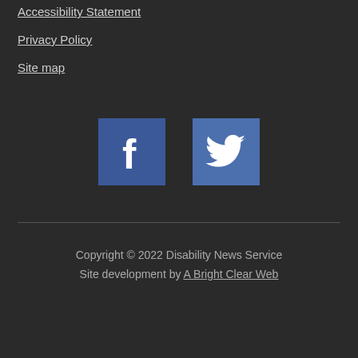Accessibility Statement
Privacy Policy
Site map
[Figure (illustration): Facebook icon (white f on blue square) and Twitter icon (white bird on blue square)]
Copyright © 2022 Disability News Service
Site development by A Bright Clear Web